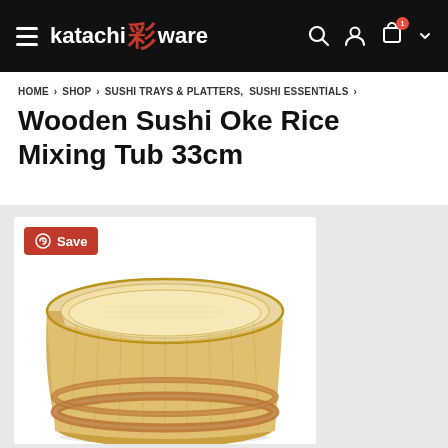katachi 彩 ware
HOME > SHOP > SUSHI TRAYS & PLATTERS, SUSHI ESSENTIALS >
Wooden Sushi Oke Rice Mixing Tub 33cm
[Figure (photo): A wooden sushi oke (hangiri) rice mixing tub with copper binding rings, approximately 33cm diameter, photographed on white background. The tub is shallow and round with pale natural wood grain and two copper/rose-gold colored metal bands around the exterior.]